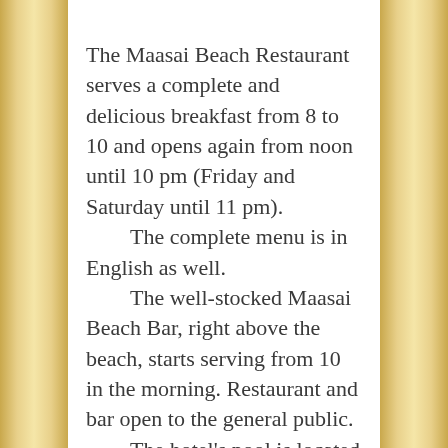The Maasai Beach Restaurant serves a complete and delicious breakfast from 8 to 10 and opens again from noon until 10 pm (Friday and Saturday until 11 pm). The complete menu is in English as well. The well-stocked Maasai Beach Bar, right above the beach, starts serving from 10 in the morning. Restaurant and bar open to the general public. The hotel's pool is located in a flowery garden with a sauna next to it. There's a private, direct access to the beach. The Maasai provides safe